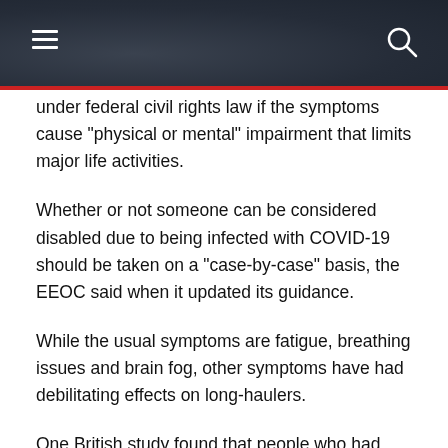under federal civil rights law if the symptoms cause "physical or mental" impairment that limits major life activities.
Whether or not someone can be considered disabled due to being infected with COVID-19 should be taken on a "case-by-case" basis, the EEOC said when it updated its guidance.
While the usual symptoms are fatigue, breathing issues and brain fog, other symptoms have had debilitating effects on long-haulers.
One British study found that people who had COVID cases severe enough to warrant critical care experienced the equivalent of 20 years of cognitive aging. The participants in the study were infected about six months beforehand on average and scored significantly lower in cognitive tests when compared to the general population.